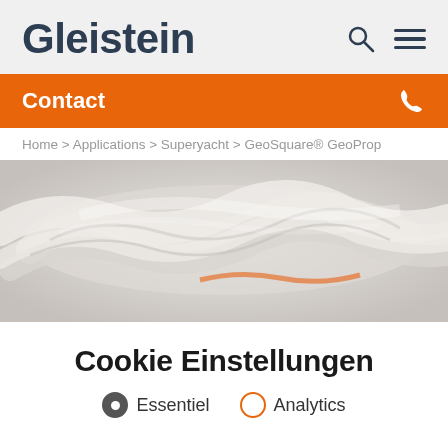Gleistein
Contact
Home > Applications > Superyacht > GeoSquare® GeoProp
[Figure (photo): Close-up photograph of white twisted/braided rope coils on a light grey background with a hint of orange rope visible]
Cookie Einstellungen
Essentiel   Analytics